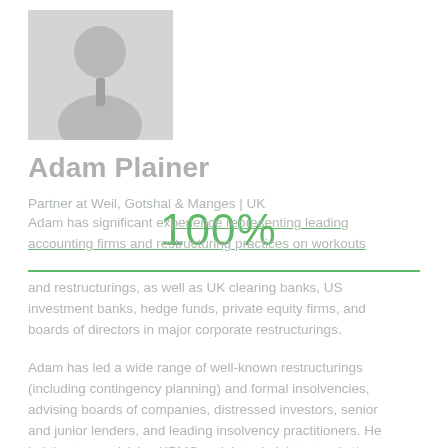[Figure (photo): Headshot photo of Adam Plainer, a man in a suit and tie, grayscale/faded appearance]
Adam Plainer
Partner at Weil, Gotshal & Manges | UK
100%
Adam has significant experience representing leading accounting firms and restructuring practices on workouts and restructurings, as well as UK clearing banks, US investment banks, hedge funds, private equity firms, and boards of directors in major corporate restructurings.
Adam has led a wide range of well-known restructurings (including contingency planning) and formal insolvencies, advising boards of companies, distressed investors, senior and junior lenders, and leading insolvency practitioners. He led the team advising KPMG as joint administrators in the